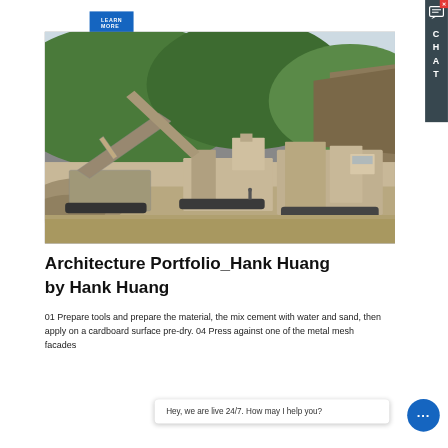LEARN MORE
[Figure (photo): Industrial quarry scene with large mobile crushing/screening machinery on gravel ground, with green hills and sky in background.]
Architecture Portfolio_Hank Huang
by Hank Huang
01 Prepare tools... with water and sand, then apply on a cardboard surface pre-dry. 04 Press against one of the metal mesh facades